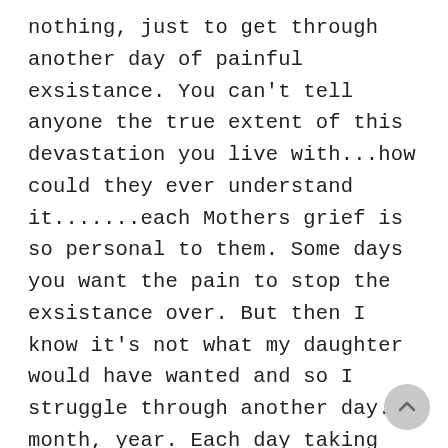nothing, just to get through another day of painful exsistance. You can't tell anyone the true extent of this devastation you live with...how could they ever understand it.......each Mothers grief is so personal to them. Some days you want the pain to stop the exsistance over. But then I know it's not what my daughter would have wanted and so I struggle through another day. month, year. Each day taking baby steps.